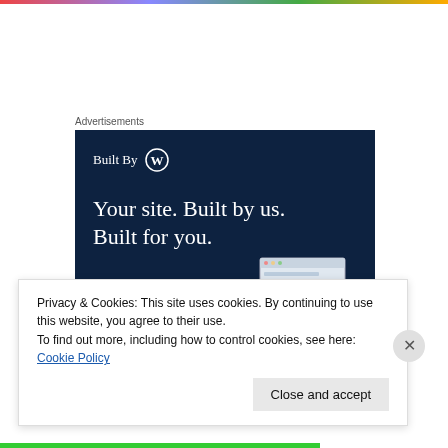Advertisements
[Figure (screenshot): WordPress advertisement banner with dark navy background. Shows 'Built By W (WordPress logo)' at top left, large white serif text reading 'Your site. Built by us. Built for you.', a white button labeled 'Get a quote now', and a mockup image of a website with a fashion photo on the right side.]
Privacy & Cookies: This site uses cookies. By continuing to use this website, you agree to their use.
To find out more, including how to control cookies, see here: Cookie Policy
Close and accept